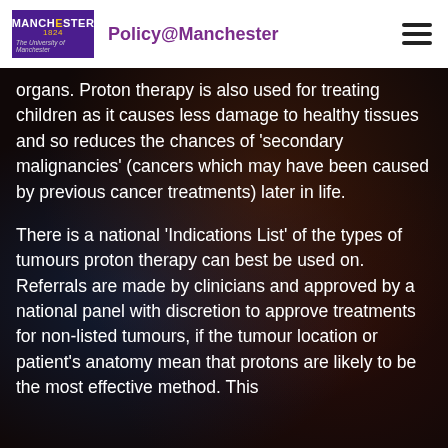Policy@Manchester — The University of Manchester
organs. Proton therapy is also used for treating children as it causes less damage to healthy tissues and so reduces the chances of 'secondary malignancies' (cancers which may have been caused by previous cancer treatments) later in life.
There is a national 'Indications List' of the types of tumours proton therapy can best be used on. Referrals are made by clinicians and approved by a national panel with discretion to approve treatments for non-listed tumours, if the tumour location or patient's anatomy mean that protons are likely to be the most effective method. This